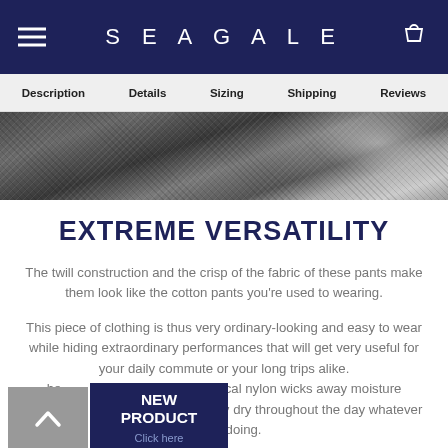SEAGALE
Description  Details  Sizing  Shipping  Reviews
[Figure (photo): Close-up textured fabric/twill weave in dark grey with sheen highlights on the right side]
EXTREME VERSATILITY
The twill construction and the crisp of the fabric of these pants make them look like the cotton pants you're used to wearing.
This piece of clothing is thus very ordinary-looking and easy to wear while hiding extraordinary performances that will get very useful for your daily commute or your long trips alike.
...he ... e and technical nylon wicks away moisture an... ...y fast so you can stay dry throughout the day whatever you're doing.